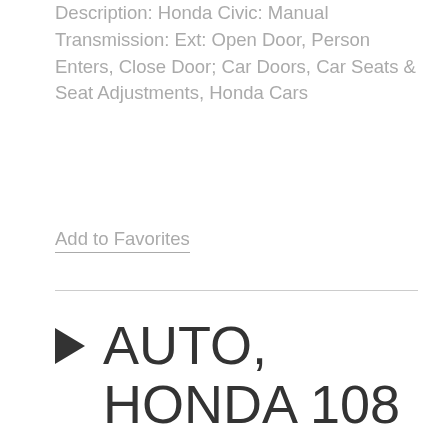Description: Honda Civic: Manual Transmission: Ext: Open Door, Person Enters, Close Door; Car Doors, Car Seats & Seat Adjustments, Honda Cars
Add to Favorites
▶ AUTO, HONDA 108
by Sounddogs.com...